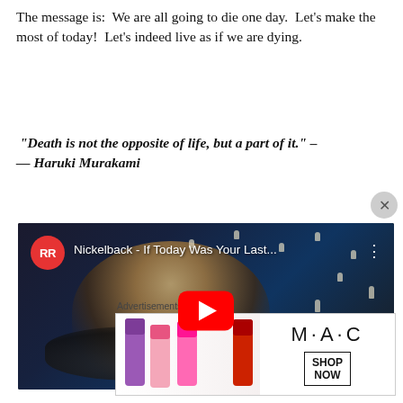The message is:  We are all going to die one day.  Let's make the most of today!  Let's indeed live as if we are dying.
“Death is not the opposite of life, but a part of it.” – — Haruki Murakami
[Figure (screenshot): YouTube video thumbnail for 'Nickelback - If Today Was Your Last...' showing a musician playing guitar, with YouTube play button overlay and RR channel logo]
Advertisements
[Figure (photo): MAC Cosmetics advertisement banner showing colorful lipsticks and SHOP NOW button]